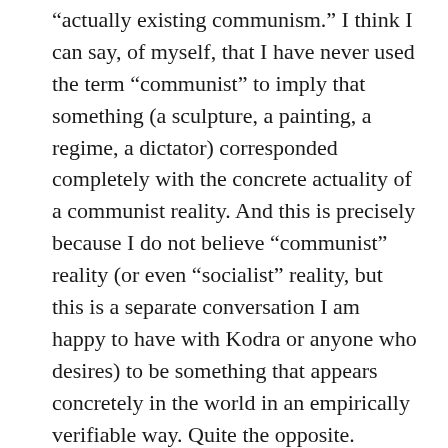“actually existing communism.” I think I can say, of myself, that I have never used the term “communist” to imply that something (a sculpture, a painting, a regime, a dictator) corresponded completely with the concrete actuality of a communist reality. And this is precisely because I do not believe “communist” reality (or even “socialist” reality, but this is a separate conversation I am happy to have with Kodra or anyone who desires) to be something that appears concretely in the world in an empirically verifiable way. Quite the opposite.
To put it plainly: I regard all “communist” discourse as utopian, which is to say I regard it as taking up an attitude towards the world that